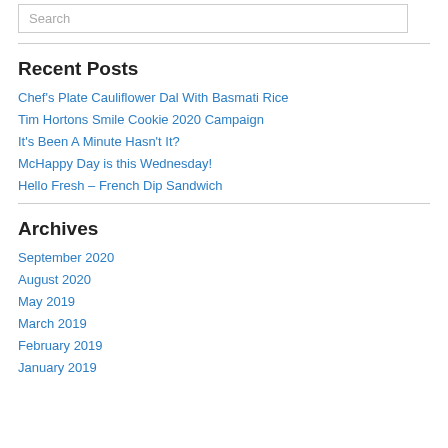Search
Recent Posts
Chef's Plate Cauliflower Dal With Basmati Rice
Tim Hortons Smile Cookie 2020 Campaign
It's Been A Minute Hasn't It?
McHappy Day is this Wednesday!
Hello Fresh – French Dip Sandwich
Archives
September 2020
August 2020
May 2019
March 2019
February 2019
January 2019